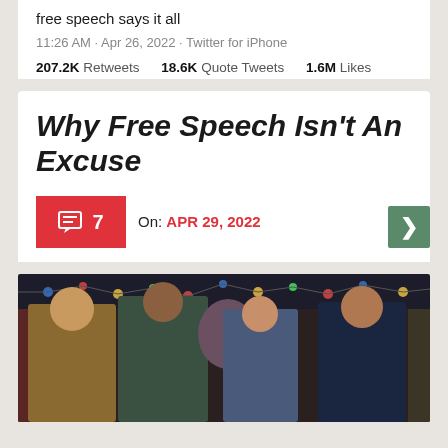free speech says it all
11:26 AM · Apr 26, 2022 · Twitter for iPhone
207.2K Retweets   18.6K Quote Tweets   1.6M Likes
Why Free Speech Isn't An Excuse
On: APR 29, 2022
[Figure (photo): Four people standing together in a venue decorated with colorful string lights, appearing to be at a market or fair setting.]